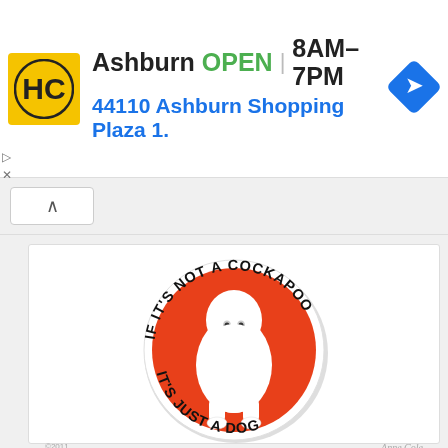[Figure (infographic): HC Hardware store advertisement banner showing yellow HC logo, store location in Ashburn, OPEN status, hours 8AM-7PM, address 44110 Ashburn Shopping Plaza 1., and blue navigation arrow icon]
[Figure (illustration): Circular sticker/clipart with orange background, white fluffy Cockapoo dog in center, text around circle reads 'IF IT'S NOT A COCKAPOO IT'S JUST A DOG'. Copyright 2011 anne colak with signature.]
Cockapoo Clipart
Jake